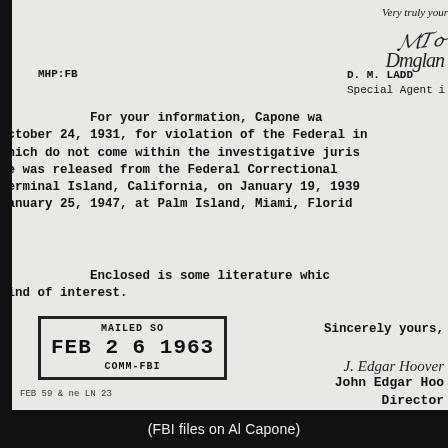Very truly your
[Figure (illustration): Handwritten signature scrawl]
D. M. LADD
Special Agent
MHP:FB
For your information, Capone was convicted on October 24, 1931, for violation of the Federal income tax laws which do not come within the investigative jurisdiction. He was released from the Federal Correctional Institution, Terminal Island, California, on January 19, 1939, and died January 25, 1947, at Palm Island, Miami, Florida.
Enclosed is some literature which you may find of interest.
[Figure (other): Rubber stamp: MAILED SO FEB 26 1963 COMM-FBI]
Sincerely yours,
[Figure (illustration): Handwritten signature: J. Edgar Hoover]
J. Edgar Hoover
John Edgar Hoover
Director
FEB 59 & ne LN 23
(FBI files on Al Capone)